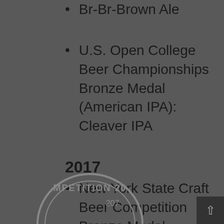Br-Br-Brown Ale
U.S. Open College Beer Championships Bronze Medal (American IPA): Cleaver IPA
2017
New York State Craft Beer Competition Bronze Medal (Belgian Farmhouse): Class Project Stay Sharp Saison
[Figure (logo): Partial circular competition logo/seal visible at bottom of page, showing text 'MPETITION 20' and '207' — appears to be a beer competition seal]